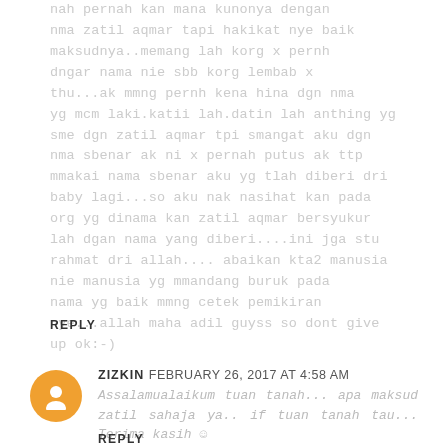nah pernah kan mana kunonya dengan nma zatil aqmar tapi hakikat nye baik maksudnya..memang lah korg x pernh dngar nama nie sbb korg lembab x thu...ak mmng pernh kena hina dgn nma yg mcm laki.katii lah.datin lah anthing yg sme dgn zatil aqmar tpi smangat aku dgn nma sbenar ak ni x pernah putus ak ttp mmakai nama sbenar aku yg tlah diberi dri baby lagi...so aku nak nasihat kan pada org yg dinama kan zatil aqmar bersyukur lah dgan nama yang diberi....ini jga stu rahmat dri allah.... abaikan kta2 manusia nie manusia yg mmandang buruk pada nama yg baik mmng cetek pemikiran nye...allah maha adil guyss so dont give up ok:-)
REPLY
ZIZKIN FEBRUARY 26, 2017 AT 4:58 AM
Assalamualaikum tuan tanah... apa maksud zatil sahaja ya.. if tuan tanah tau... Terima kasih ☺
REPLY